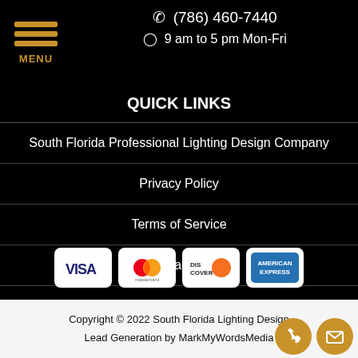MENU
(786) 460-7440
9 am to 5 pm Mon-Fri
QUICK LINKS
South Florida Professional Lighting Design Company
Privacy Policy
Terms of Service
Contact Us
Locations Served
[Figure (logo): Payment method icons: VISA, Mastercard, Discover, American Express]
Copyright © 2022 South Florida Lighting Design
Lead Generation by MarkMyWordsMedia